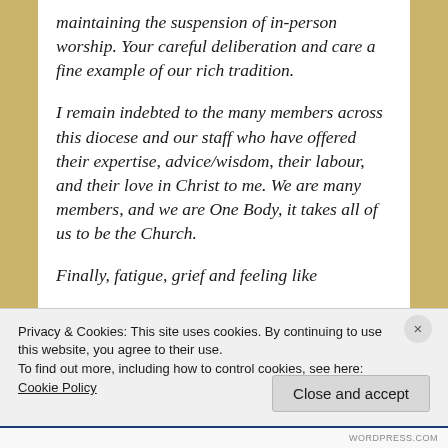maintaining the suspension of in-person worship. Your careful deliberation and care a fine example of our rich tradition.
I remain indebted to the many members across this diocese and our staff who have offered their expertise, advice/wisdom, their labour, and their love in Christ to me. We are many members, and we are One Body, it takes all of us to be the Church.
Finally, fatigue, grief and feeling like
Privacy & Cookies: This site uses cookies. By continuing to use this website, you agree to their use.
To find out more, including how to control cookies, see here: Cookie Policy